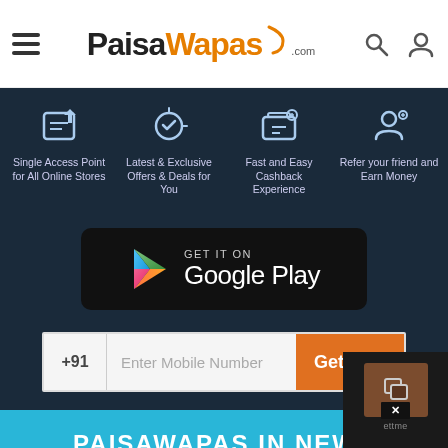PaisaWapas.com - navigation header with hamburger menu, logo, search and user icons
[Figure (screenshot): Dark blue section with four feature icons: Single Access Point for All Online Stores, Latest & Exclusive Offers & Deals for You, Fast and Easy Cashback Experience, Refer your friend and Earn Money]
[Figure (screenshot): GET IT ON Google Play button with Play Store logo on dark background]
+91  Enter Mobile Number  Get Link
PAISAWAPAS IN NEWS
[Figure (logo): The Economic Times logo on white card]
[Figure (logo): Tech In Asia logo on white card]
WhatsApp icon | BUY NOW | close popup